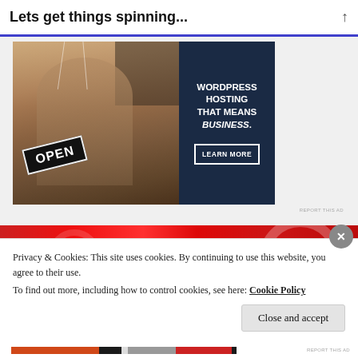Lets get things spinning...
[Figure (photo): Advertisement banner: left half shows a woman smiling holding an OPEN sign in a store, right half is dark navy blue with text 'WORDPRESS HOSTING THAT MEANS BUSINESS.' and a 'LEARN MORE' button.]
[Figure (photo): Red background strip, part of a webpage image.]
Privacy & Cookies: This site uses cookies. By continuing to use this website, you agree to their use.
To find out more, including how to control cookies, see here: Cookie Policy
Close and accept